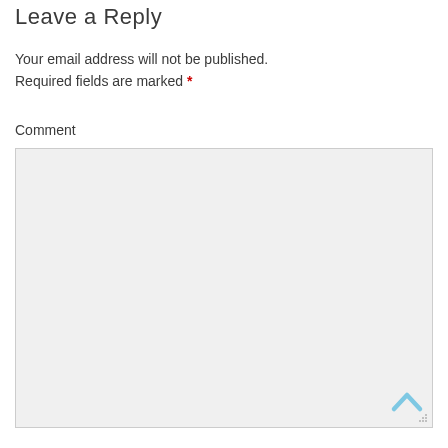Leave a Reply
Your email address will not be published. Required fields are marked *
Comment
[Figure (other): Empty comment text area input box with light gray background and a resize handle in the bottom-right corner, with a light blue scroll-to-top chevron arrow in the lower-right corner]